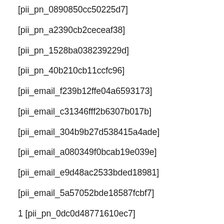[pii_pn_0890850cc50225d7]
[pii_pn_a2390cb2ceceaf38]
[pii_pn_1528ba038239229d]
[pii_pn_40b210cb11ccfc96]
[pii_email_f239b12ffe04a6593173]
[pii_email_c31346fff2b6307b017b]
[pii_email_304b9b27d538415a4ade]
[pii_email_a080349f0bcab19e039e]
[pii_email_e9d48ac2533bded18981]
[pii_email_5a57052bde18587fcbf7]
1 [pii_pn_0dc0d48771610ec7]